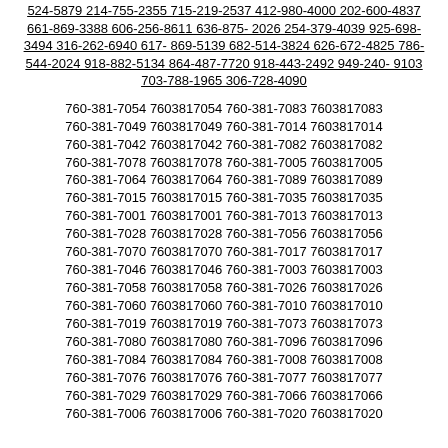524-5879 214-755-2355 715-219-2537 412-980-4000 202-600-4837 661-869-3388 606-256-8611 636-875-2026 254-379-4039 925-698-3494 316-262-6940 617-869-5139 682-514-3824 626-672-4825 786-544-2024 918-882-5134 864-487-7720 918-443-2492 949-240-9103 703-788-1965 306-728-4090
760-381-7054 7603817054 760-381-7083 7603817083 760-381-7049 7603817049 760-381-7014 7603817014 760-381-7042 7603817042 760-381-7082 7603817082 760-381-7078 7603817078 760-381-7005 7603817005 760-381-7064 7603817064 760-381-7089 7603817089 760-381-7015 7603817015 760-381-7035 7603817035 760-381-7001 7603817001 760-381-7013 7603817013 760-381-7028 7603817028 760-381-7056 7603817056 760-381-7070 7603817070 760-381-7017 7603817017 760-381-7046 7603817046 760-381-7003 7603817003 760-381-7058 7603817058 760-381-7026 7603817026 760-381-7060 7603817060 760-381-7010 7603817010 760-381-7019 7603817019 760-381-7073 7603817073 760-381-7080 7603817080 760-381-7096 7603817096 760-381-7084 7603817084 760-381-7008 7603817008 760-381-7076 7603817076 760-381-7077 7603817077 760-381-7029 7603817029 760-381-7066 7603817066 760-381-7006 7603817006 760-381-7020 7603817020